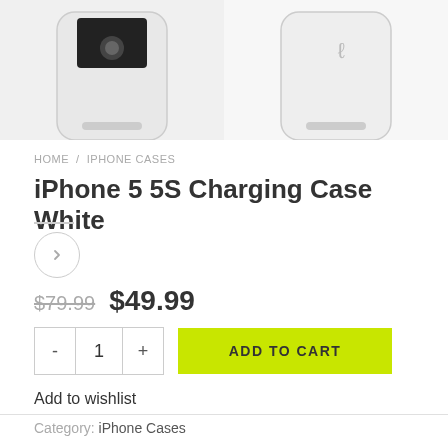[Figure (photo): Two product photos of iPhone 5 5S Charging Case White — left shows front view, right shows back view]
HOME / IPHONE CASES
iPhone 5 5S Charging Case White
$79.99  $49.99
- 1 +  ADD TO CART
Add to wishlist
Category: iPhone Cases
[Figure (illustration): Row of social media share icons: phone, facebook, twitter, email, pinterest, google+, linkedin]